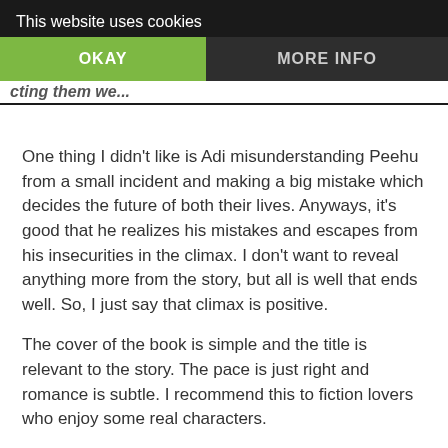This website uses cookies | OKAY | MORE INFO
One thing I didn't like is Adi misunderstanding Peehu from a small incident and making a big mistake which decides the future of both their lives. Anyways, it's good that he realizes his mistakes and escapes from his insecurities in the climax. I don't want to reveal anything more from the story, but all is well that ends well. So, I just say that climax is positive.
The cover of the book is simple and the title is relevant to the story. The pace is just right and romance is subtle. I recommend this to fiction lovers who enjoy some real characters.
My Rating: 4.5/5
PS: I have received this e-book from the author through book r3vi3w tours and this is my honest opinion on the book.
About the Author